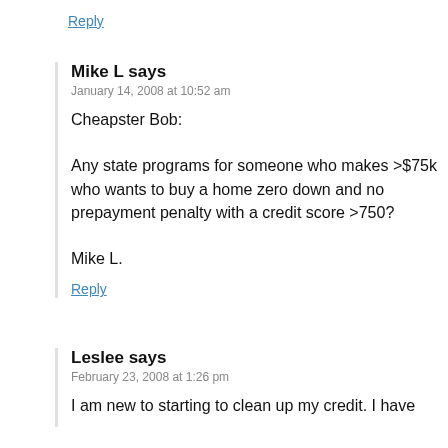Reply
Mike L says
January 14, 2008 at 10:52 am
Cheapster Bob:

Any state programs for someone who makes >$75k who wants to buy a home zero down and no prepayment penalty with a credit score >750?

Mike L.
Reply
Leslee says
February 23, 2008 at 1:26 pm
I am new to starting to clean up my credit. I have